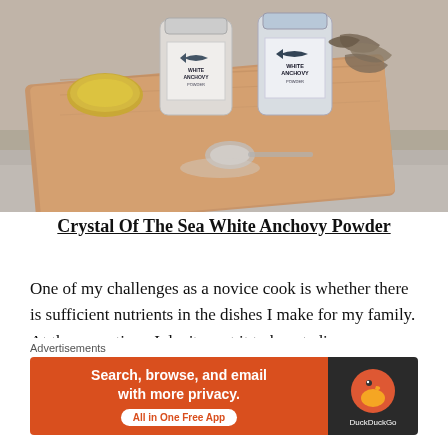[Figure (photo): Photo of two jars of Crystal Of The Sea White Anchovy Powder on a wooden cutting board, with dried anchovies and a spoon with powder scattered on the board, set against a linen fabric background.]
Crystal Of The Sea White Anchovy Powder
One of my challenges as a novice cook is whether there is sufficient nutrients in the dishes I make for my family. At the same time, I don't want it to be a tedious process of
[Figure (screenshot): Advertisement banner: DuckDuckGo ad reading 'Search, browse, and email with more privacy. All in One Free App' with DuckDuckGo logo on dark background.]